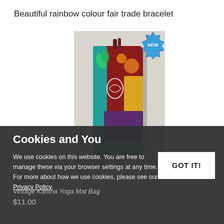Beautiful rainbow colour fair trade bracelet
[Figure (photo): Colorful patchwork yoga mat bag hanging on a white surface with a teal and multicolor strap, decorated with floral and swirl patterns in red, teal, yellow and purple. A blue starburst badge with 'NEW' text is in the top right corner of the image.]
Cookies and You
We use cookies on this website. You are free to manage these via your browser settings at any time. For more about how we use cookies, please see our Privacy Policy.
GOT IT!
Vintage Kantha Yoga Mat Bag
$11.00